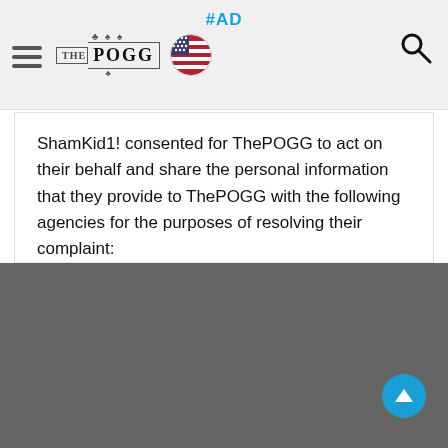THE POGG | #AD
ShamKid1! consented for ThePOGG to act on their behalf and share the personal information that they provide to ThePOGG with the following agencies for the purposes of resolving their complaint:
Casino Room
United Kingdom Gambling Commission
Curacao
Malta Gaming Authority
Ellmount Gaming Ltd
June 9, 2021